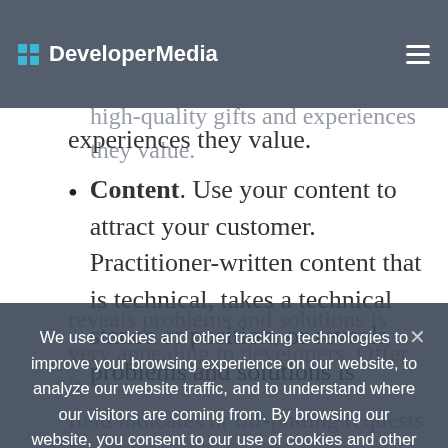DeveloperMedia
and, eventually, brand recognition. Give your customers high-quality gifts and experiences they value.
Content. Use your content to attract your customer. Practitioner-written content that is technical, takes a technical stance or position, or reveals problems and solutions is very appealing to developers. Offer it for a phone number. Become a reliable source of information by establishing a blog cadence that
We use cookies and other tracking technologies to improve your browsing experience on our website, to analyze our website traffic, and to understand where our visitors are coming from. By browsing our website, you consent to our use of cookies and other tracking technologies.
Accept   Privacy policy